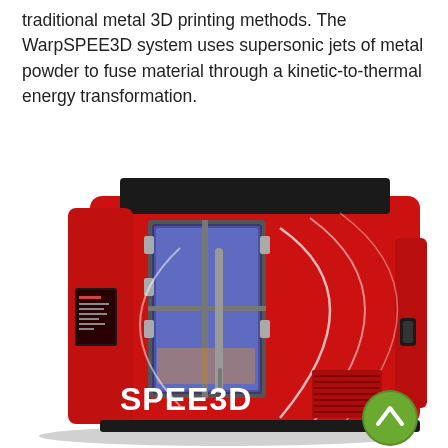traditional metal 3D printing methods. The WarpSPEE3D system uses supersonic jets of metal powder to fuse material through a kinetic-to-thermal energy transformation.
[Figure (photo): Photo of the WarpSPEE3D large red industrial metal 3D printing machine with a glass-windowed chamber showing blue/purple interior light, a touchscreen panel on the left side, and the SPEE3D branding logo in white on the front lower panel. A green circular up-arrow scroll button overlays the bottom-right corner.]